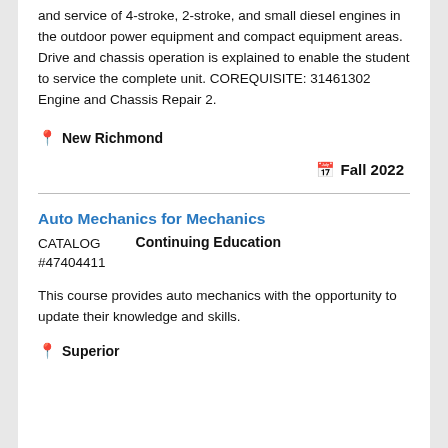and service of 4-stroke, 2-stroke, and small diesel engines in the outdoor power equipment and compact equipment areas. Drive and chassis operation is explained to enable the student to service the complete unit. COREQUISITE: 31461302 Engine and Chassis Repair 2.
📍 New Richmond
📅 Fall 2022
Auto Mechanics for Mechanics
CATALOG #47404411   Continuing Education
This course provides auto mechanics with the opportunity to update their knowledge and skills.
📍 Superior